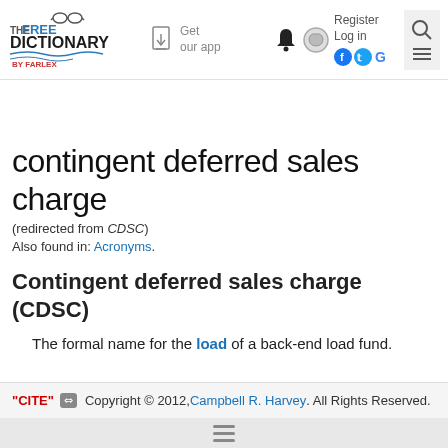THE FREE DICTIONARY BY FARLEX | Get our app | Register | Log in
contingent deferred sales charge
(redirected from CDSC)
Also found in: Acronyms.
Contingent deferred sales charge (CDSC)
The formal name for the load of a back-end load fund.
"CITE" © Copyright © 2012, Campbell R. Harvey. All Rights Reserved.